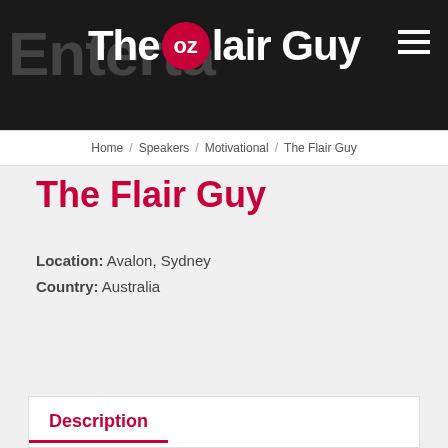The OZ Flair Guy — Entertainers website header
Home / Speakers / Motivational / The Flair Guy
The Flair Guy
Location: Avalon, Sydney
Country: Australia
Request a Quote
Description
If you're looking for something really fun & different to engage and excite your team, but